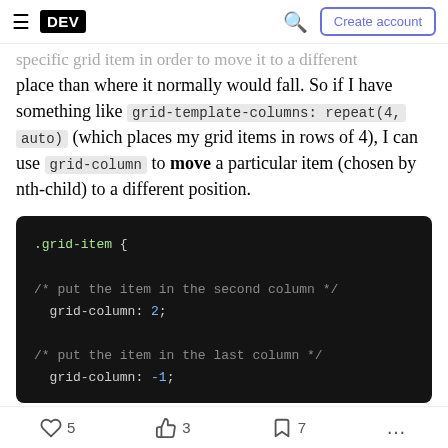DEV | Create account
specific grid item in order to move it to a different place than where it normally would fall. So if I have something like grid-template-columns: repeat(4, auto) (which places my grid items in rows of 4), I can use grid-column to move a particular item (chosen by nth-child) to a different position.
[Figure (screenshot): Code block showing CSS: .grid-item { /* put the item in the second column */ grid-column: 2; /* put the item in the last column */ grid-column: -1; }]
5  3  7  ...